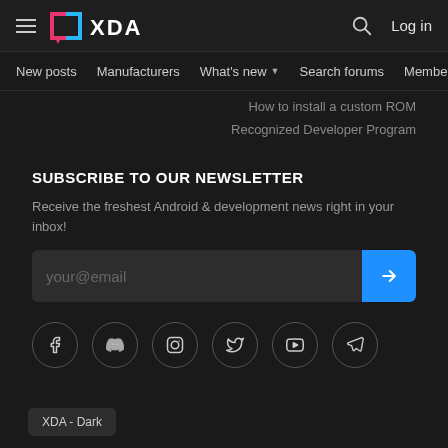XDA - Navigation header with hamburger menu, XDA logo, search icon, Log in
New posts | Manufacturers | What's new ▾ | Search forums | Membe | >
How to install a custom ROM
Recognized Developer Program
SUBSCRIBE TO OUR NEWSLETTER
Receive the freshest Android & development news right in your inbox!
your@email
[Figure (infographic): Social media icons in circles: Facebook, Discord, Instagram, Twitter, YouTube, Telegram]
XDA - Dark